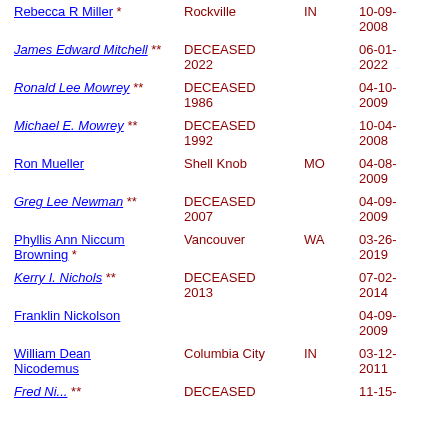| Name | City | State | Date |
| --- | --- | --- | --- |
| Rebecca R Miller * | Rockville | IN | 10-09-2008 |
| James Edward Mitchell ** | DECEASED 2022 |  | 06-01-2022 |
| Ronald Lee Mowrey ** | DECEASED 1986 |  | 04-10-2009 |
| Michael E. Mowrey ** | DECEASED 1992 |  | 10-04-2008 |
| Ron Mueller | Shell Knob | MO | 04-08-2009 |
| Greg Lee Newman ** | DECEASED 2007 |  | 04-09-2009 |
| Phyllis Ann Niccum Browning * | Vancouver | WA | 03-26-2019 |
| Kerry I. Nichols ** | DECEASED 2013 |  | 07-02-2014 |
| Franklin Nickolson |  |  | 04-09-2009 |
| William Dean Nicodemus | Columbia City | IN | 03-12-2011 |
| Fred Ni... ** | DECEASED |  | 11-15-... |